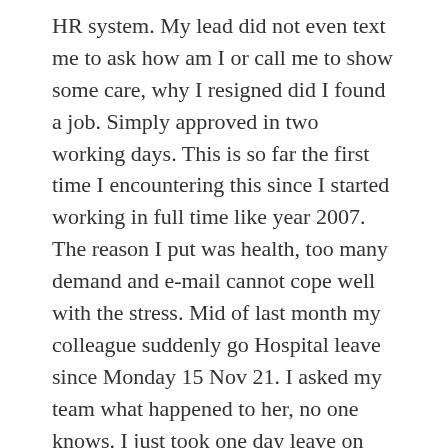HR system. My lead did not even text me to ask how am I or call me to show some care, why I resigned did I found a job. Simply approved in two working days. This is so far the first time I encountering this since I started working in full time like year 2007. The reason I put was health, too many demand and e-mail cannot cope well with the stress. Mid of last month my colleague suddenly go Hospital leave since Monday 15 Nov 21. I asked my team what happened to her, no one knows. I just took one day leave on Mon 15 Nov 21 as was having staycation with my girlfriend on Sat for 2 nights. So on 30 Nov 21 my project manager in afternoon called me up to amend whole of last month time sheet to another project code as I given new project code in month of Oct 21 to use from 1 Nov 21 as he said felt sorry she took so much hospital leave should not